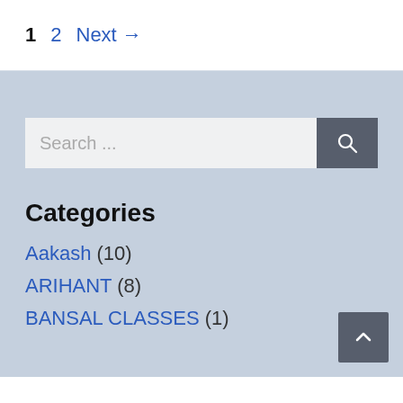1  2  Next →
[Figure (screenshot): Search input box with a search button (magnifying glass icon) on a light blue-grey sidebar background]
Categories
Aakash (10)
ARIHANT (8)
BANSAL CLASSES (1)